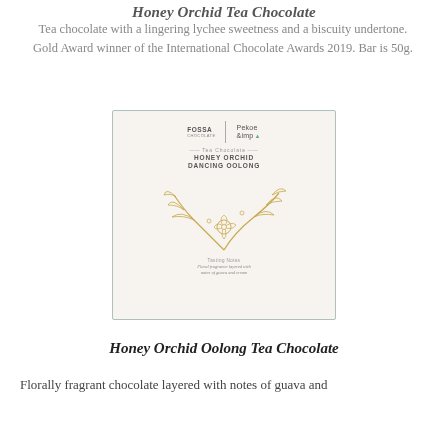Honey Orchid Tea Chocolate
Tea chocolate with a lingering lychee sweetness and a biscuity undertone. Gold Award winner of the International Chocolate Awards 2019. Bar is 50g.
[Figure (photo): Product packaging for Fossa Chocolate x Pekoe & Imp Honey Orchid Dancing Oolong Tea Chocolate bar, showing a cream/beige card with teal border, brand logos, product name, and a golden botanical illustration of orchid branches]
Honey Orchid Oolong Tea Chocolate
Florally fragrant chocolate layered with notes of guava and